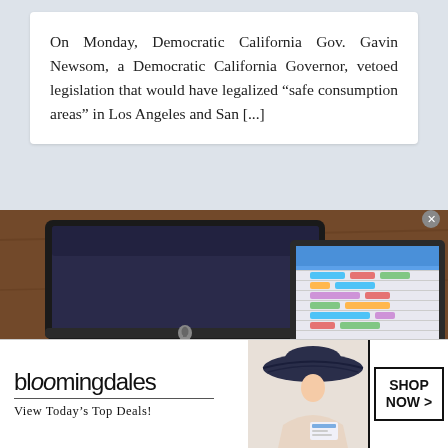On Monday, Democratic California Gov. Gavin Newsom, a Democratic California Governor, vetoed legislation that would have legalized “safe consumption areas” in Los Angeles and San [...]
[Figure (photo): Photo of a desktop workspace with an Apple iMac, MacBook laptop, Apple wireless keyboard, and a tablet on a wooden desk surface]
[Figure (photo): Bloomingdale's advertisement banner featuring a woman in a wide-brim hat and a Shop Now button]